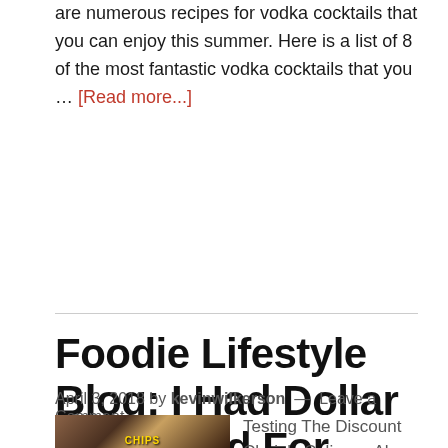are numerous recipes for vodka cocktails that you can enjoy this summer. Here is a list of 8 of the most fantastic vodka cocktails that you … [Read more...]
Foodie Lifestyle Blog: I Had Dollar Tree Food For Lunch (And Survived)
April 3, 2018 by kevinwilkerson — Leave a Comment
[Figure (photo): Photo of Dollar Tree food items including chips packages]
Testing The Discount Chain's Culinary, Ahem, Delights By